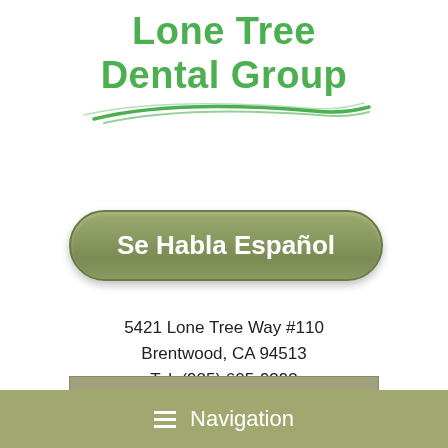[Figure (logo): Lone Tree Dental Group logo with green bold text and green swoosh/arc graphic beneath the text]
[Figure (other): Green rounded pill-shaped button with text 'Se Habla Español' in white bold text]
5421 Lone Tree Way #110
Brentwood, CA 94513
Tel: (925) 605-9393
Fax: (925) 513-9282
[Figure (other): Gray-green rectangular button with text 'Request An Appointment' in white]
Navigation